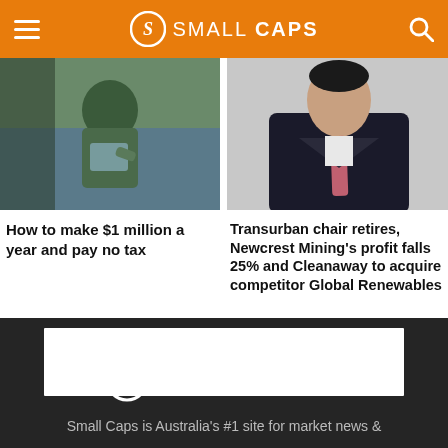SMALL CAPS
[Figure (photo): Person in green sweater using a tablet device outdoors]
How to make $1 million a year and pay no tax
[Figure (photo): Man in dark suit with pink tie, professional portrait]
Transurban chair retires, Newcrest Mining’s profit falls 25% and Cleanaway to acquire competitor Global Renewables
[Figure (logo): Small Caps logo on dark background with white ad placement box]
Small Caps is Australia's #1 site for market news &